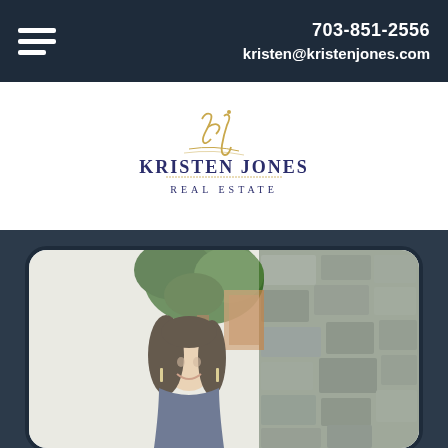703-851-2556
kristen@kristenjones.com
[Figure (logo): Kristen Jones Real Estate logo with stylized 'kj' script above text 'KRISTEN JONES REAL ESTATE']
[Figure (photo): Professional photo of Kristen Jones, a woman with long dark hair, smiling, standing next to a stone wall with a tree in the background]